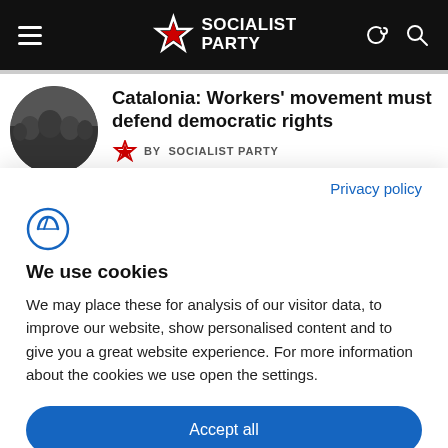Socialist Party
Catalonia: Workers' movement must defend democratic rights
BY SOCIALIST PARTY
Privacy policy
We use cookies
We may place these for analysis of our visitor data, to improve our website, show personalised content and to give you a great website experience. For more information about the cookies we use open the settings.
Accept all
Deny
No, adjust